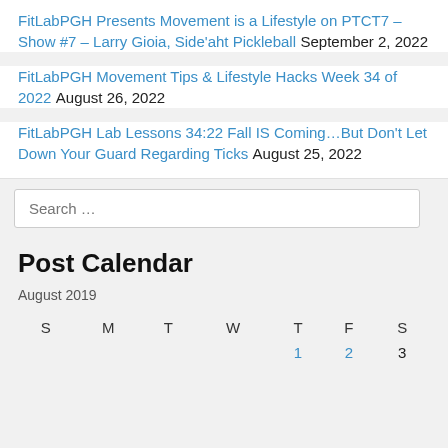FitLabPGH Presents Movement is a Lifestyle on PTCT7 – Show #7 – Larry Gioia, Side'aht Pickleball September 2, 2022
FitLabPGH Movement Tips & Lifestyle Hacks Week 34 of 2022 August 26, 2022
FitLabPGH Lab Lessons 34:22 Fall IS Coming…But Don't Let Down Your Guard Regarding Ticks August 25, 2022
Search …
Post Calendar
August 2019
| S | M | T | W | T | F | S |
| --- | --- | --- | --- | --- | --- | --- |
|  |  |  |  | 1 | 2 | 3 |